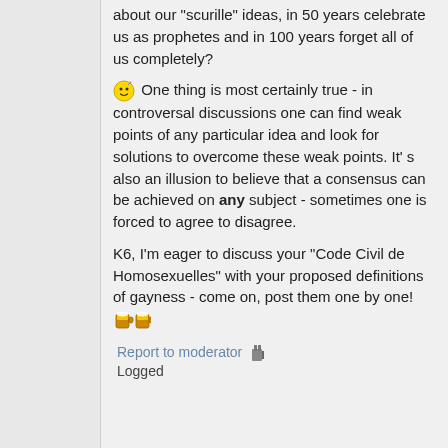about our "scurille" ideas, in 50 years celebrate us as prophetes and in 100 years forget all of us completely?
One thing is most certainly true - in controversal discussions one can find weak points of any particular idea and look for solutions to overcome these weak points. It' s also an illusion to believe that a consensus can be achieved on any subject - sometimes one is forced to agree to disagree.
K6, I'm eager to discuss your "Code Civil de Homosexuelles" with your proposed definitions of gayness - come on, post them one by one!
Report to moderator   Logged